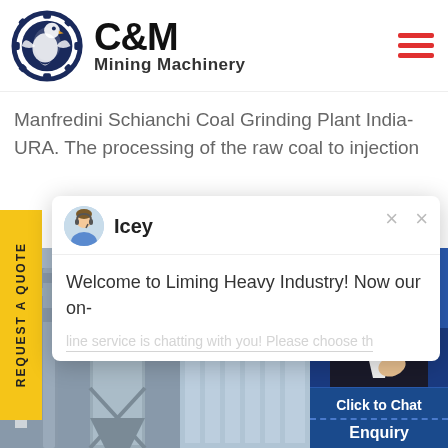[Figure (logo): C&M Mining Machinery logo with eagle/gear emblem]
Manfredini Schianchi Coal Grinding Plant India- URA. The processing of the raw coal to injection
[Figure (screenshot): Chat popup with avatar of Icey, message: Welcome to Liming Heavy Industry! Now our on- line service is chatting with you! Please choose th...]
rce of energy in india but indian
[Figure (photo): Industrial coal grinding plant equipment with pipes and silos]
[Figure (photo): Customer service agent with headset, notification badge showing 1]
Click to Chat
Enquiry
REQUEST A QUOTE